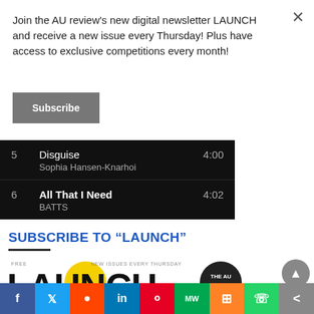Join the AU review's new digital newsletter LAUNCH and receive a new issue every Thursday! Plus have access to exclusive competitions every month!
Subscribe
| # | Title / Artist | Duration |
| --- | --- | --- |
| 5 | Disguise
Sophia Hansen-Knarhoi | 4:00 |
| 6 | All That I Need
BATTS | 4:02 |
SUBSCRIBE TO “LAUNCH”
[Figure (logo): LAUNCH newsletter logo with yellow circle, FREE and NEW ISSUES EVERY THURSDAY text, and THE AU REVIEW circle logo]